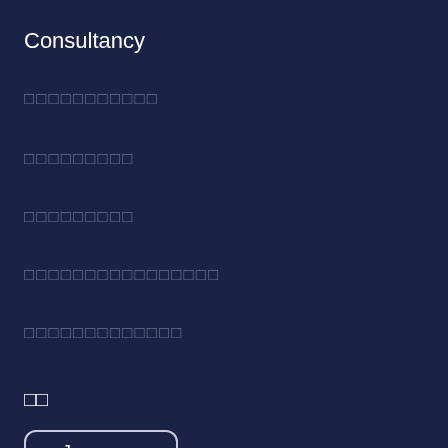Consultancy
□□□□□□□□□□□
□□□□□□□□□
□□□□□□□□□
□□□□□□□□□□□□□□□□
□□□□□□□□□□□□□
□□
Japanese